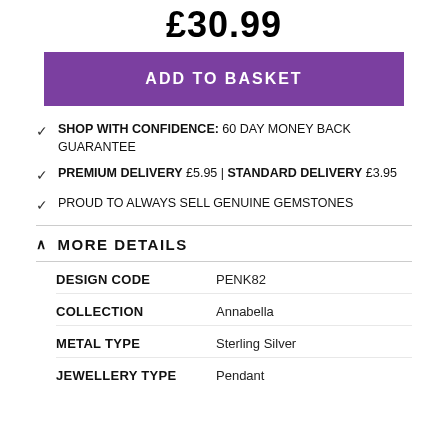£30.99
ADD TO BASKET
SHOP WITH CONFIDENCE: 60 DAY MONEY BACK GUARANTEE
PREMIUM DELIVERY £5.95 | STANDARD DELIVERY £3.95
PROUD TO ALWAYS SELL GENUINE GEMSTONES
MORE DETAILS
|  |  |
| --- | --- |
| DESIGN CODE | PENK82 |
| COLLECTION | Annabella |
| METAL TYPE | Sterling Silver |
| JEWELLERY TYPE | Pendant |